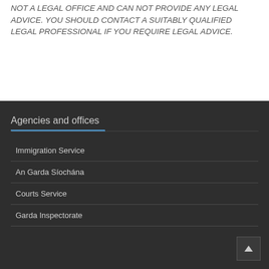NOT A LEGAL OFFICE AND CAN NOT PROVIDE ANY LEGAL ADVICE. YOU SHOULD CONTACT A SUITABLY QUALIFIED LEGAL PROFESSIONAL IF YOU REQUIRE LEGAL ADVICE.
Agencies and offices
Immigration Service
An Garda Síochána
Courts Service
Garda Inspectorate